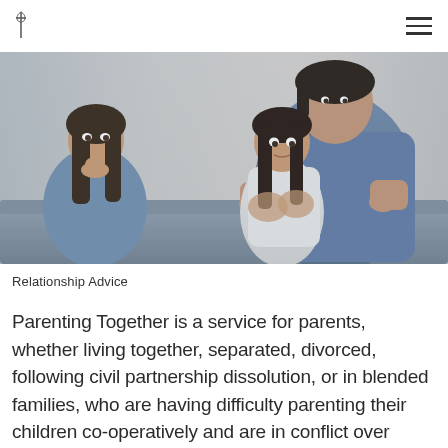[Logo] [Hamburger menu]
[Figure (photo): A woman sitting on a couch looking distressed with her chin resting on her hand, while a child in a white dress is hugged from behind by a man wearing a blue sweater. Family conflict / co-parenting scene.]
Relationship Advice
Parenting Together is a service for parents, whether living together, separated, divorced, following civil partnership dissolution, or in blended families, who are having difficulty parenting their children co-operatively and are in conflict over parenting